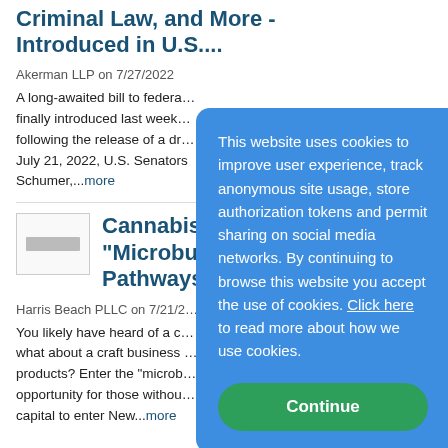Criminal Law, and More - Introduced in U.S....
Akerman LLP on 7/27/2022
A long-awaited bill to federalize cannabis law was finally introduced last week following the release of a draft on July 21, 2022, U.S. Senators Schumer,...more
Cannabis on a Cr... "Microbusiness"... Pathways to Gro...
Harris Beach PLLC on 7/21/2...
You likely have heard of a craft brewery, but what about a craft business that uses cannabis products? Enter the "microb... opportunity for those withou... capital to enter New...more
This website uses cookies to improve user experience, track anonymous site usage, store authorization tokens and permit sharing on social media networks. By continuing to browse this website you accept the use of cookies. Click here to read more about how we use cookies.